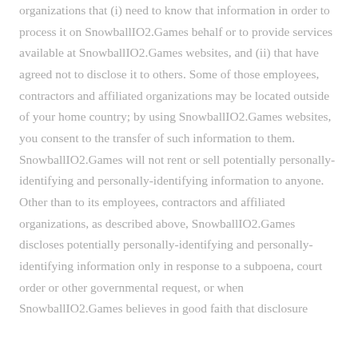organizations that (i) need to know that information in order to process it on SnowballIO2.Games behalf or to provide services available at SnowballIO2.Games websites, and (ii) that have agreed not to disclose it to others. Some of those employees, contractors and affiliated organizations may be located outside of your home country; by using SnowballIO2.Games websites, you consent to the transfer of such information to them. SnowballIO2.Games will not rent or sell potentially personally-identifying and personally-identifying information to anyone. Other than to its employees, contractors and affiliated organizations, as described above, SnowballIO2.Games discloses potentially personally-identifying and personally-identifying information only in response to a subpoena, court order or other governmental request, or when SnowballIO2.Games believes in good faith that disclosure